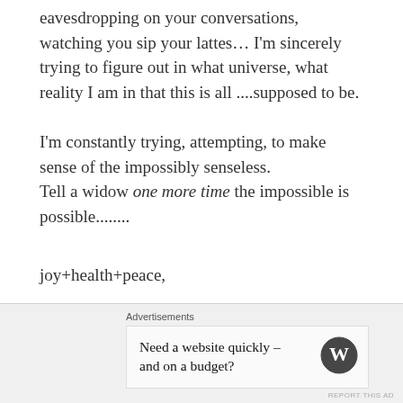eavesdropping on your conversations, watching you sip your lattes… I'm sincerely trying to figure out in what universe, what reality I am in that this is all ....supposed to be.
I'm constantly trying, attempting, to make sense of the impossibly senseless.
Tell a widow one more time the impossible is possible........
joy+health+peace,
caroline
[Figure (screenshot): Advertisement bar at bottom of page showing WordPress ad: 'Need a website quickly – and on a budget?' with WordPress logo and close button]